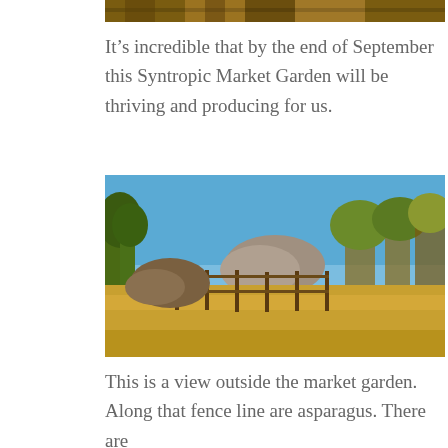[Figure (photo): Partial top of an outdoor landscape photo showing rocky/earthy terrain, cropped at top of page]
It’s incredible that by the end of September this Syntropic Market Garden will be thriving and producing for us.
[Figure (photo): View outside the market garden showing a fenced area with dry golden grass, scattered trees, a blue sky, and rocky hills in the background]
This is a view outside the market garden. Along that fence line are asparagus. There are